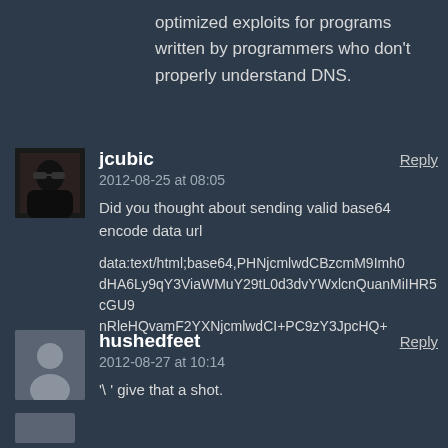optimized exploits for programs written by programmers who don't properly understand DNS.
jcubic
2012-08-25 at 08:05
Did you thought about sending valid base64 encode data url

data:text/html;base64,PHNjcmlwdCBzcmM9Imh0dHA6Ly9qY3ViaWMuY29tL0d3dvYWxlcnQuanMiIHR5cGU9InRleHQvaWF2YXNjcmlwdCI+PC9zY3JpcHQ+
hushedfeet
2012-08-27 at 10:14
'\ 'give that a shot.